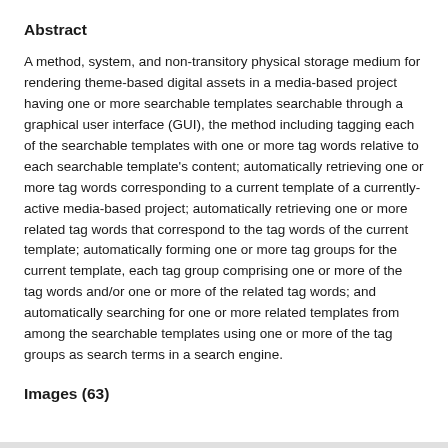Abstract
A method, system, and non-transitory physical storage medium for rendering theme-based digital assets in a media-based project having one or more searchable templates searchable through a graphical user interface (GUI), the method including tagging each of the searchable templates with one or more tag words relative to each searchable template's content; automatically retrieving one or more tag words corresponding to a current template of a currently-active media-based project; automatically retrieving one or more related tag words that correspond to the tag words of the current template; automatically forming one or more tag groups for the current template, each tag group comprising one or more of the tag words and/or one or more of the related tag words; and automatically searching for one or more related templates from among the searchable templates using one or more of the tag groups as search terms in a search engine.
Images (63)